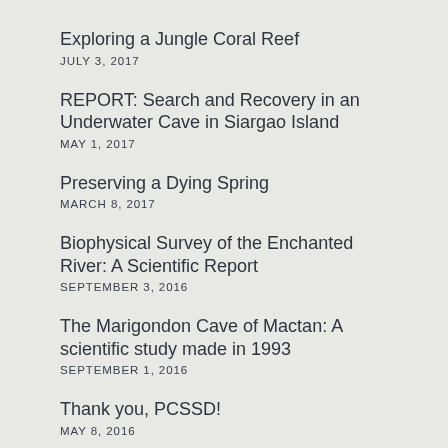Exploring a Jungle Coral Reef
JULY 3, 2017
REPORT: Search and Recovery in an Underwater Cave in Siargao Island
MAY 1, 2017
Preserving a Dying Spring
MARCH 8, 2017
Biophysical Survey of the Enchanted River: A Scientific Report
SEPTEMBER 3, 2016
The Marigondon Cave of Mactan: A scientific study made in 1993
SEPTEMBER 1, 2016
Thank you, PCSSD!
MAY 8, 2016